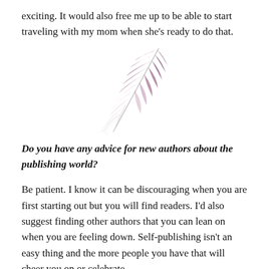exciting. It would also free me up to be able to start traveling with my mom when she's ready to do that.
[Figure (illustration): A purple and white feather quill illustration, angled diagonally with the tip pointing lower-left and the fluffy end upper-right.]
Do you have any advice for new authors about the publishing world?
Be patient. I know it can be discouraging when you are first starting out but you will find readers. I'd also suggest finding other authors that you can lean on when you are feeling down. Self-publishing isn't an easy thing and the more people you have that will cheer you on or celebrate